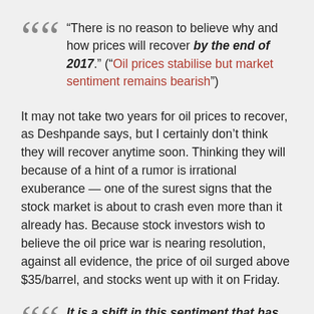“There is no reason to believe why and how prices will recover by the end of 2017.” (“Oil prices stabilise but market sentiment remains bearish”)
It may not take two years for oil prices to recover, as Deshpande says, but I certainly don’t think they will recover anytime soon. Thinking they will because of a hint of a rumor is irrational exuberance — one of the surest signs that the stock market is about to crash even more than it already has. Because stock investors wish to believe the oil price war is nearing resolution, against all evidence, the price of oil surged above $35/barrel, and stocks went up with it on Friday.
It is a shift in this sentiment that has driven the